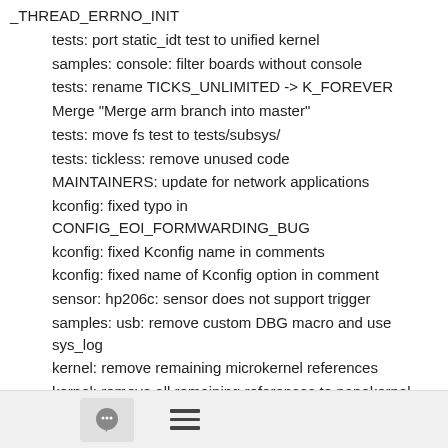_THREAD_ERRNO_INIT
tests: port static_idt test to unified kernel
samples: console: filter boards without console
tests: rename TICKS_UNLIMITED -> K_FOREVER
Merge "Merge arm branch into master"
tests: move fs test to tests/subsys/
tests: tickless: remove unused code
MAINTAINERS: update for network applications
kconfig: fixed typo in CONFIG_EOI_FORMWARDING_BUG
kconfig: fixed Kconfig name in comments
kconfig: fixed name of Kconfig option in comment
sensor: hp206c: sensor does not support trigger
samples: usb: remove custom DBG macro and use sys_log
kernel: remove remaining microkernel references
kernel: remove all remaining references to nanokernel
kernel: error on inclusion of nanokernel.h and